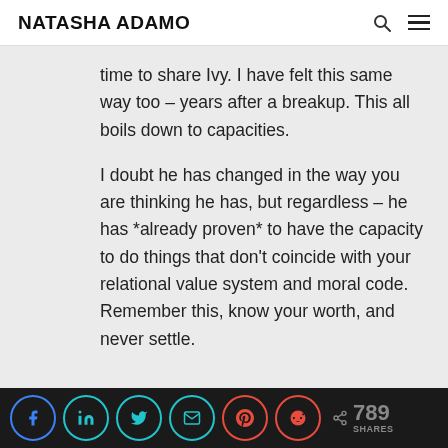NATASHA ADAMO
time to share Ivy. I have felt this same way too – years after a breakup. This all boils down to capacities.
I doubt he has changed in the way you are thinking he has, but regardless – he has *already proven* to have the capacity to do things that don't coincide with your relational value system and moral code. Remember this, know your worth, and never settle.
789 SHARES — social share buttons: Facebook, LinkedIn, Twitter, Email, Pinterest, Reddit